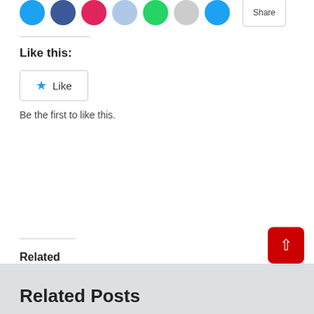[Figure (other): Social sharing icons (Twitter/blue, Facebook/blue, heart/red, light blue, green WhatsApp, grey, dark blue) and a share button]
Like this:
[Figure (other): Like button with blue star icon and text 'Like']
Be the first to like this.
Related
Associated Bank
September 26, 2021
In "Banking"
Webster Bank
December 28, 2019
In "Banking"
MidFirst Bank
January 2, 2020
In "Banking"
Related Posts